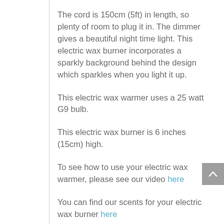The cord is 150cm (5ft) in length, so plenty of room to plug it in.  The dimmer gives a beautiful night time light.  This electric wax burner incorporates a sparkly background behind the design  which sparkles when you light it up.
This electric wax warmer uses a 25 watt G9 bulb.
This electric wax burner is 6 inches (15cm) high.
To see how to use your electric wax warmer, please see our video here
You can find our scents for your electric wax burner here